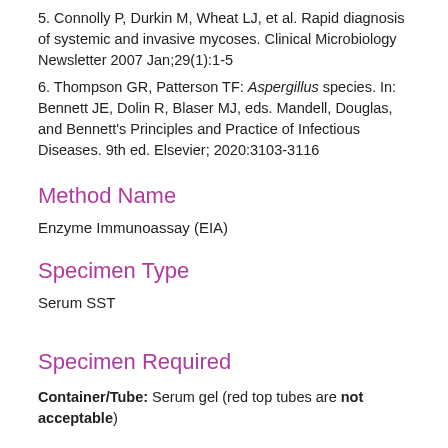5. Connolly P, Durkin M, Wheat LJ, et al. Rapid diagnosis of systemic and invasive mycoses. Clinical Microbiology Newsletter 2007 Jan;29(1):1-5
6. Thompson GR, Patterson TF: Aspergillus species. In: Bennett JE, Dolin R, Blaser MJ, eds. Mandell, Douglas, and Bennett's Principles and Practice of Infectious Diseases. 9th ed. Elsevier; 2020:3103-3116
Method Name
Enzyme Immunoassay (EIA)
Specimen Type
Serum SST
Specimen Required
Container/Tube: Serum gel (red top tubes are not acceptable)